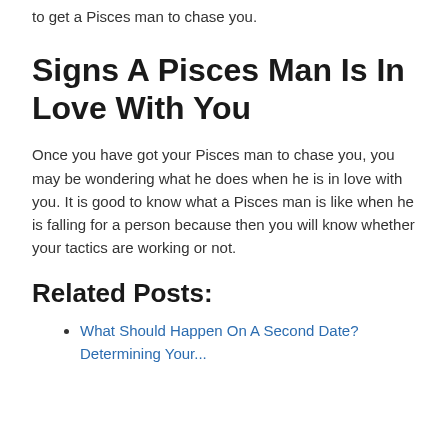to get a Pisces man to chase you.
Signs A Pisces Man Is In Love With You
Once you have got your Pisces man to chase you, you may be wondering what he does when he is in love with you. It is good to know what a Pisces man is like when he is falling for a person because then you will know whether your tactics are working or not.
Related Posts:
What Should Happen On A Second Date? Determining Your...